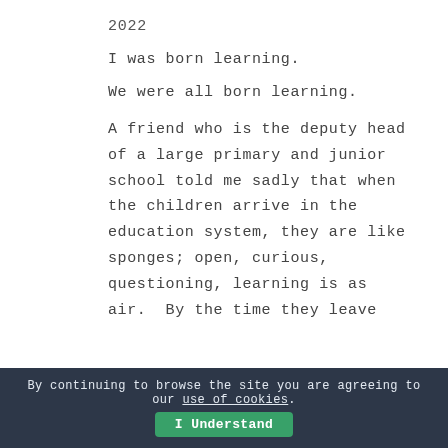2022
I was born learning.
We were all born learning.
A friend who is the deputy head of a large primary and junior school told me sadly that when the children arrive in the education system, they are like sponges; open, curious, questioning, learning is as air. By the time they leave
By continuing to browse the site you are agreeing to our use of cookies. | I Understand